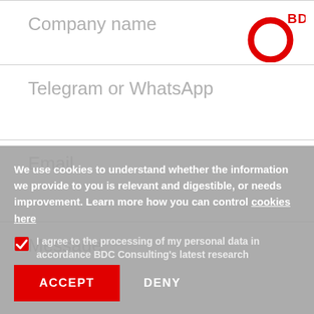Company name
[Figure (logo): BDC logo — red circle outline with BDC text in red]
Telegram or WhatsApp
Email
Message
We use cookies to understand whether the information we provide to you is relevant and digestible, or needs improvement. Learn more how you can control cookies here
I agree to the processing of my personal data in accordance BDC Consulting's latest research